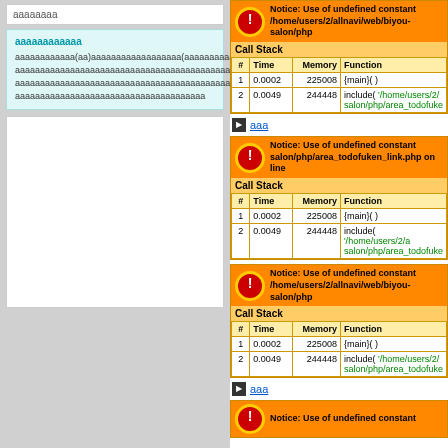aaaaaaaa
aaaaaaaaaaaa
aaaaaaaaaaaa(aa)aaaaaaaaaaaaaaaaaa(aaaaaaaaaaaaaaaaaaaaaaaaaaaaaaaaaaaaaaaaaaaaaaaaaaaaaaaaaaaaaaaaaaaaaaaaaaaaaaaaaaaaaaaaaaaaaaaaaaaaaaaaaaaaaaaaaaaaaaaaaaaaaaaaaa
[Figure (screenshot): White content box placeholder]
[Figure (screenshot): PHP error notice with Call Stack table showing {main}() and include() calls]
aaa
[Figure (screenshot): PHP error notice: Notice: Use of undefined constant ... salon/php/area_todofuken_link.php on line with Call Stack]
[Figure (screenshot): PHP error notice: Notice: Use of undefined constant ... /home/users/2/allnavi/web/biyou-salon/php with Call Stack]
aaa
[Figure (screenshot): PHP error notice: Notice: Use of undefined constant]